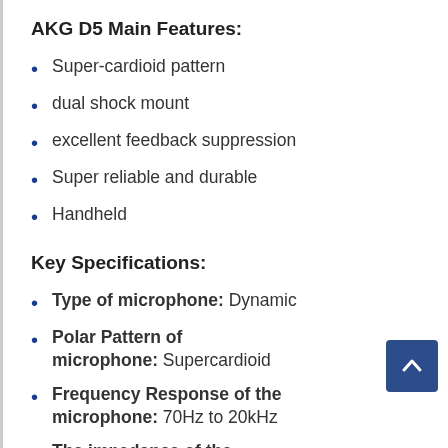AKG D5 Main Features:
Super-cardioid pattern
dual shock mount
excellent feedback suppression
Super reliable and durable
Handheld
Key Specifications:
Type of microphone: Dynamic
Polar Pattern of microphone: Supercardioid
Frequency Response of the microphone: 70Hz to 20kHz
The impedance of the